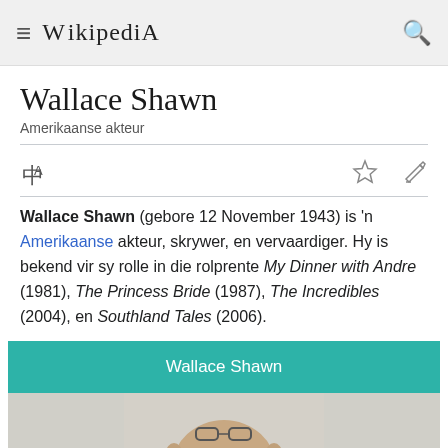Wikipedia
Wallace Shawn
Amerikaanse akteur
Wallace Shawn (gebore 12 November 1943) is 'n Amerikaanse akteur, skrywer, en vervaardiger. Hy is bekend vir sy rolle in die rolprente My Dinner with Andre (1981), The Princess Bride (1987), The Incredibles (2004), en Southland Tales (2006).
Wallace Shawn
[Figure (photo): Photo of Wallace Shawn, partial view showing top of head]